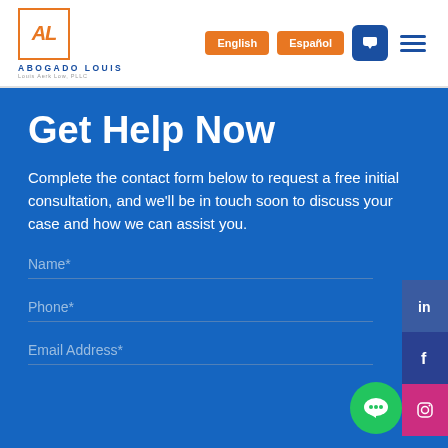[Figure (logo): Abogado Louis law firm logo with orange square border containing 'AL' letters, text reads 'ABOGADO LOUIS' and 'Louis Aerk Low, PLLC']
English | Español | phone icon | menu icon
Get Help Now
Complete the contact form below to request a free initial consultation, and we'll be in touch soon to discuss your case and how we can assist you.
Name*
Phone*
Email Address*